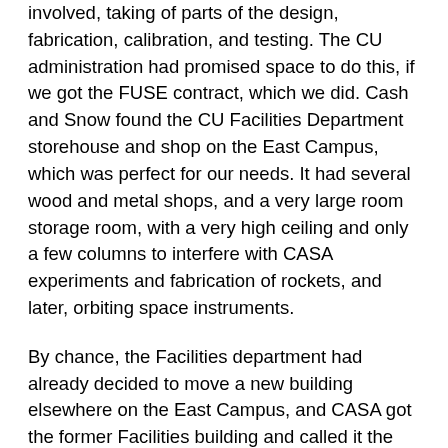involved, taking of parts of the design, fabrication, calibration, and testing. The CU administration had promised space to do this, if we got the FUSE contract, which we did. Cash and Snow found the CU Facilities Department storehouse and shop on the East Campus, which was perfect for our needs. It had several wood and metal shops, and a very large room storage room, with a very high ceiling and only a few columns to interfere with CASA experiments and fabrication of rockets, and later, orbiting space instruments.
By chance, the Facilities department had already decided to move a new building elsewhere on the East Campus, and CASA got the former Facilities building and called it the Astrophysical Research Laboratory (ARL). Later, in 1997, when CASA (with Ball) had the contract to built and test the Cosmic Origins Spectrograph (COS), the building was expanded to house the new people who came here to work on COS.